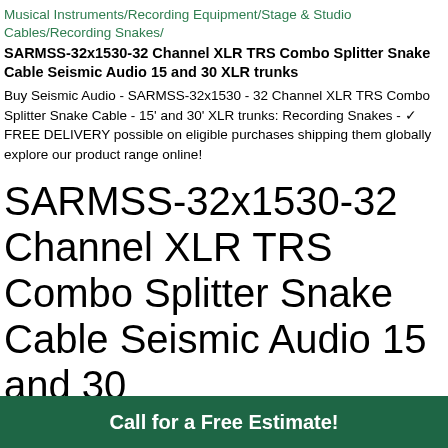Musical Instruments/Recording Equipment/Stage & Studio Cables/Recording Snakes/
SARMSS-32x1530-32 Channel XLR TRS Combo Splitter Snake Cable Seismic Audio 15 and 30 XLR trunks
Buy Seismic Audio - SARMSS-32x1530 - 32 Channel XLR TRS Combo Splitter Snake Cable - 15' and 30' XLR trunks: Recording Snakes - ✓ FREE DELIVERY possible on eligible purchases shipping them globally explore our product range online!
SARMSS-32x1530-32 Channel XLR TRS Combo Splitter Snake Cable Seismic Audio 15 and 30
Call for a Free Estimate!